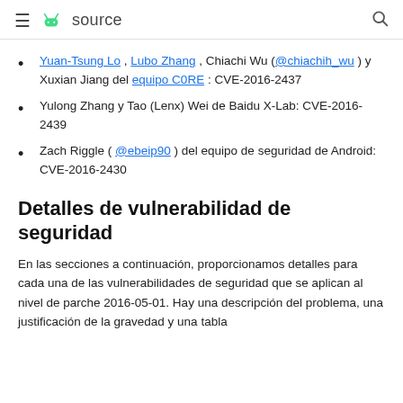≡ source 🔍
Yuan-Tsung Lo, Lubo Zhang, Chiachi Wu (@chiachih_wu) y Xuxian Jiang del equipo C0RE : CVE-2016-2437
Yulong Zhang y Tao (Lenx) Wei de Baidu X-Lab: CVE-2016-2439
Zach Riggle ( @ebeip90 ) del equipo de seguridad de Android: CVE-2016-2430
Detalles de vulnerabilidad de seguridad
En las secciones a continuación, proporcionamos detalles para cada una de las vulnerabilidades de seguridad que se aplican al nivel de parche 2016-05-01. Hay una descripción del problema, una justificación de la gravedad y una tabla